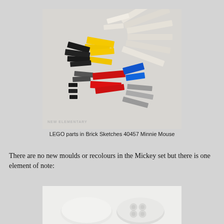[Figure (photo): Photograph of LEGO parts from Brick Sketches 40457 Minnie Mouse set, showing various colored pieces including black, yellow, red, blue, grey, and white/tan pieces scattered on a light grey background. Watermark reads NEW ELEMENTARY.]
LEGO parts in Brick Sketches 40457 Minnie Mouse
There are no new moulds or recolours in the Mickey set but there is one element of note:
[Figure (photo): Close-up photograph of two white LEGO pieces on a white background — one smooth round disc and one round piece showing the underside with studs visible.]